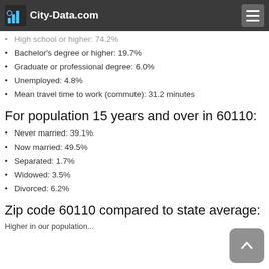City-Data.com
High school or higher: 74.2%
Bachelor's degree or higher: 19.7%
Graduate or professional degree: 6.0%
Unemployed: 4.8%
Mean travel time to work (commute): 31.2 minutes
For population 15 years and over in 60110:
Never married: 39.1%
Now married: 49.5%
Separated: 1.7%
Widowed: 3.5%
Divorced: 6.2%
Zip code 60110 compared to state average:
Higher in our population...